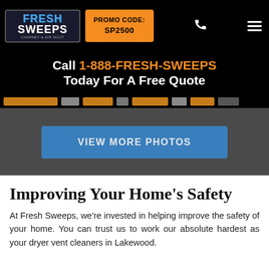Fresh Sweeps Chimney & Air Duct — PROMO CODE: SP2500
Call 1-888-FRESH-SWEEPS Today For A Free Quote
[Figure (screenshot): Slider image strip with orange-highlighted sections visible]
VIEW MORE PHOTOS
Improving Your Home's Safety
At Fresh Sweeps, we're invested in helping improve the safety of your home. You can trust us to work our absolute hardest as your dryer vent cleaners in Lakewood.